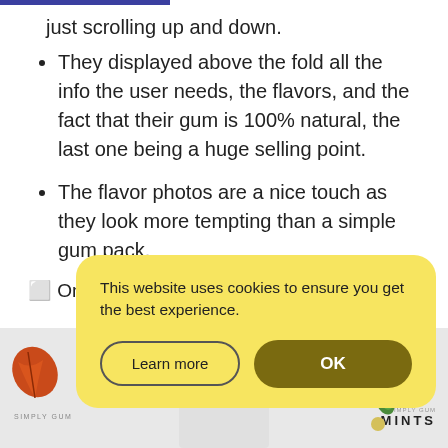just scrolling up and down.
They displayed above the fold all the info the user needs, the flavors, and the fact that their gum is 100% natural, the last one being a huge selling point.
The flavor photos are a nice touch as they look more tempting than a simple gum pack.
⬜ Online store built using Shopify
[Figure (screenshot): Screenshot of Simply Gum website showing product images including a MINTS product, partially obscured by cookie consent banner]
[Figure (infographic): Cookie consent banner with yellow background reading 'This website uses cookies to ensure you get the best experience.' with 'Learn more' and 'OK' buttons]